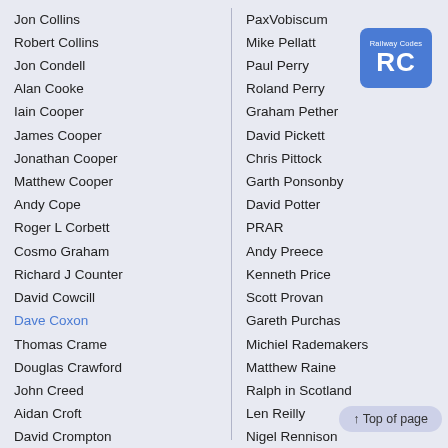Jon Collins
Robert Collins
Jon Condell
Alan Cooke
Iain Cooper
James Cooper
Jonathan Cooper
Matthew Cooper
Andy Cope
Roger L Corbett
Cosmo Graham
Richard J Counter
David Cowcill
Dave Coxon
Thomas Crame
Douglas Crawford
John Creed
Aidan Croft
David Crompton
PaxVobiscum
Mike Pellatt
Paul Perry
Roland Perry
Graham Pether
David Pickett
Chris Pittock
Garth Ponsonby
David Potter
PRAR
Andy Preece
Kenneth Price
Scott Provan
Gareth Purchas
Michiel Rademakers
Matthew Raine
Ralph in Scotland
Len Reilly
Nigel Rennison
[Figure (logo): Railway Codes RC logo — blue rounded square with 'Railway Codes' text and 'RC' in white]
↑ Top of page